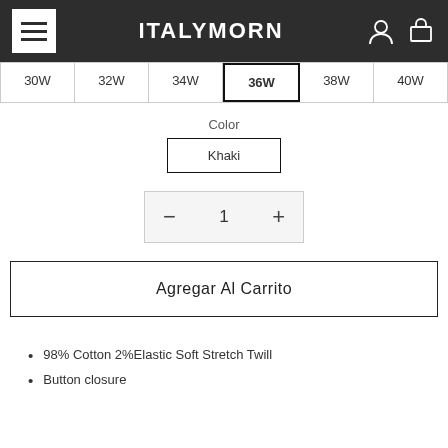ITALYMORN
| 30W | 32W | 34W | 36W | 38W | 40W |
| --- | --- | --- | --- | --- | --- |
Color
Khaki
1
Agregar Al Carrito
98% Cotton 2%Elastic Soft Stretch Twill
Button closure